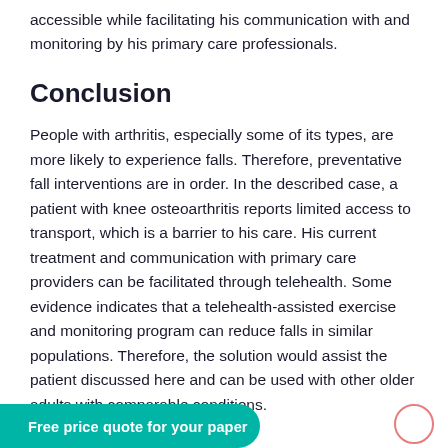accessible while facilitating his communication with and monitoring by his primary care professionals.
Conclusion
People with arthritis, especially some of its types, are more likely to experience falls. Therefore, preventative fall interventions are in order. In the described case, a patient with knee osteoarthritis reports limited access to transport, which is a barrier to his care. His current treatment and communication with primary care providers can be facilitated through telehealth. Some evidence indicates that a telehealth-assisted exercise and monitoring program can reduce falls in similar populations. Therefore, the solution would assist the patient discussed here and can be used with other older adults with comparable conditions.
Free price quote for your paper →